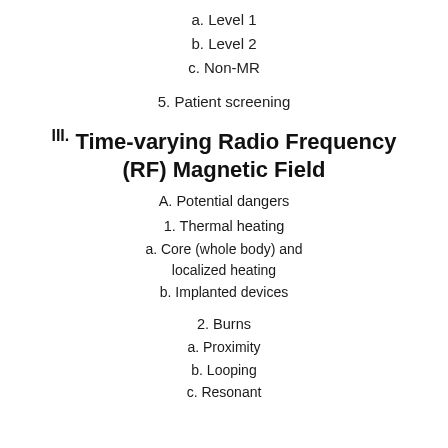a. Level 1
b. Level 2
c. Non-MR
5. Patient screening
III. Time-varying Radio Frequency (RF) Magnetic Field
A. Potential dangers
1. Thermal heating
a. Core (whole body) and localized heating
b. Implanted devices
2. Burns
a. Proximity
b. Looping
c. Resonant